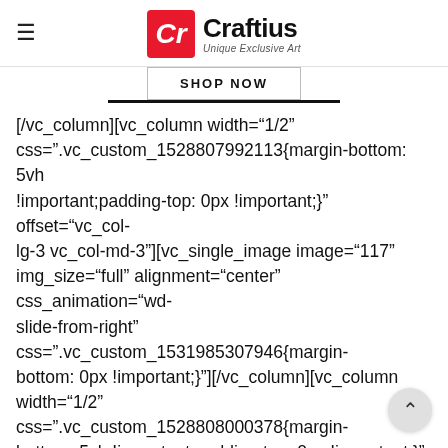Craftius — Unique Exclusive Art
[Figure (logo): Craftius logo with red square containing stylized 'Cr' letter and bold black text 'Craftius' with italic tagline 'Unique Exclusive Art']
SHOP NOW
[/vc_column][vc_column width="1/2" css=".vc_custom_1528807992113{margin-bottom: 5vh !important;padding-top: 0px !important;}" offset="vc_col-lg-3 vc_col-md-3"][vc_single_image image="117" img_size="full" alignment="center" css_animation="wd-slide-from-right" css=".vc_custom_1531985307946{margin-bottom: 0px !important;}"][/vc_column][vc_column width="1/2" css=".vc_custom_1528808000378{margin-bottom: 5vh !important;padding-top: 0px !important;}" offset="vc_col-lg-3 vc_col-md-3"][vc_single_image image="117" img_size="full" alignment="center" css_animation="wd-slide-from-right" css=".vc_custom_1531985318673{margin-bottom: 0px !important;}"][/vc_column][vc_row][vc_row